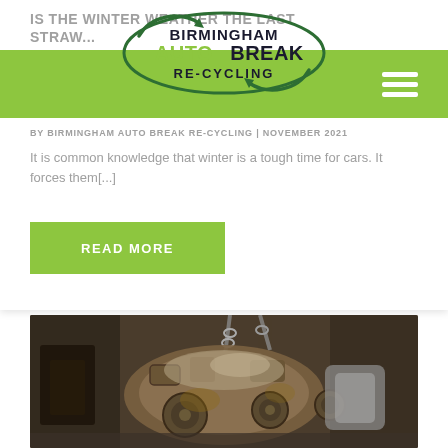IS THE WINTER WEATHER THE LAST STRAW...
[Figure (logo): Birmingham Auto Break Re-Cycling logo with green circular arrows and dark text]
BY BIRMINGHAM AUTO BREAK RE-CYCLING | NOVEMBER 2021
It is common knowledge that winter is a tough time for cars. It forces them[...]
READ MORE
[Figure (photo): A heavily worn car engine being lifted by chains, showing rust and mechanical components]